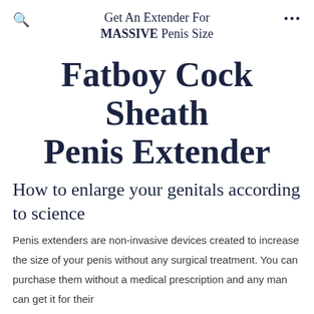Get An Extender For MASSIVE Penis Size
Fatboy Cock Sheath Penis Extender
How to enlarge your genitals according to science
Penis extenders are non-invasive devices created to increase the size of your penis without any surgical treatment. You can purchase them without a medical prescription and any man can get it for their